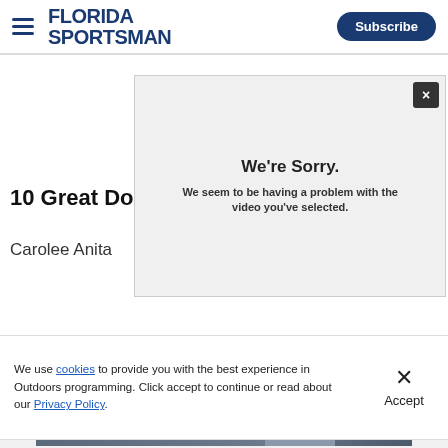Florida Sportsman | Subscribe
[Figure (screenshot): Video player showing error modal overlay on article page. Modal reads 'We're Sorry. We seem to be having a problem with the video you've selected.' Article title '10 Great Do' and author 'Carolee Anita' visible behind modal.]
10 Great Do
Carolee Anita
We're Sorry.
We seem to be having a problem with the video you've selected.
We use cookies to provide you with the best experience in Outdoors programming. Click accept to continue or read about our Privacy Policy.
Advertisement
[Figure (infographic): Advertisement banner: 'MIRACLE RESCUE: MAN OVERBOARD SURVIVES WITH HELP OF A WHISTLE' with sailboat image and LEARN MORE button]